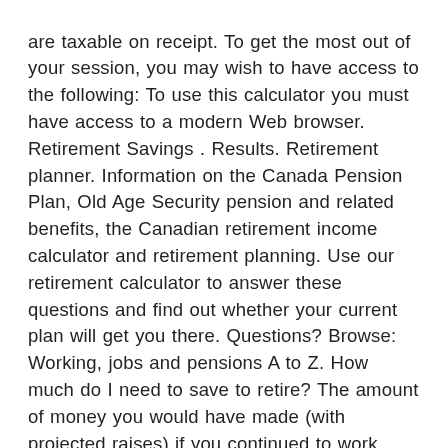are taxable on receipt. To get the most out of your session, you may wish to have access to the following: To use this calculator you must have access to a modern Web browser. Retirement Savings . Results. Retirement planner. Information on the Canada Pension Plan, Old Age Security pension and related benefits, the Canadian retirement income calculator and retirement planning. Use our retirement calculator to answer these questions and find out whether your current plan will get you there. Questions? Browse: Working, jobs and pensions A to Z. How much do I need to save to retire? The amount of money you would have made (with projected raises) if you continued to work rather than retire is also summed up over the same period of time. Your Profile . The initial version of this calculator has been used for several years to help government employees predict whether their current and future levels of saving will provide sufficient income at the desired retirement age. The calculator may be a useful tool in helping you estimate how much you need for